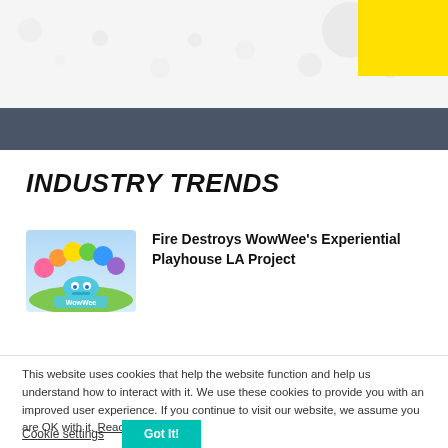[Figure (illustration): Top decorative background area with light gray background, small colorful decorative circles/blobs, and a bright yellow rectangle in the top-right corner]
[Figure (other): Dark slate-colored horizontal banner bar]
INDUSTRY TRENDS
[Figure (illustration): WowWee brand image showing colorful cartoon characters arranged in an arc with WowWee logo]
Fire Destroys WowWee's Experiential Playhouse LA Project
This website uses cookies that help the website function and help us understand how to interact with it. We use these cookies to provide you with an improved user experience. If you continue to visit our website, we assume you are OK with it. Read More
Cookie settings  Got It!